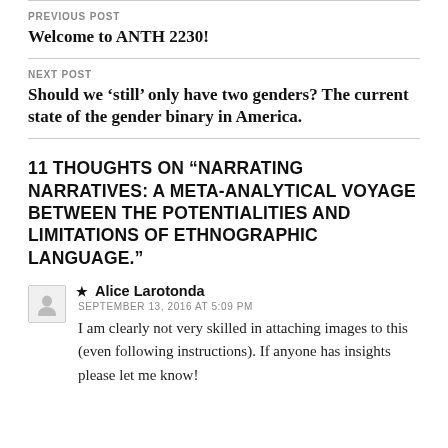PREVIOUS POST
Welcome to ANTH 2230!
NEXT POST
Should we ‘still’ only have two genders? The current state of the gender binary in America.
11 THOUGHTS ON “NARRATING NARRATIVES: A META-ANALYTICAL VOYAGE BETWEEN THE POTENTIALITIES AND LIMITATIONS OF ETHNOGRAPHIC LANGUAGE.”
★ Alice Larotonda
SEPTEMBER 13, 2016 AT 5:09 PM
I am clearly not very skilled in attaching images to this (even following instructions). If anyone has insights please let me know!